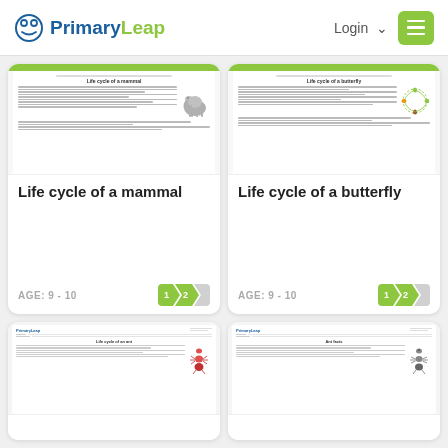PrimaryLeap | Login
[Figure (screenshot): Worksheet preview for Life cycle of a mammal with elephant image]
Life cycle of a mammal
AGE: 9 - 10
[Figure (screenshot): Worksheet preview for Life cycle of a butterfly with butterfly diagram]
Life cycle of a butterfly
AGE: 9 - 10
[Figure (screenshot): Worksheet preview for Life cycle of an ant]
[Figure (screenshot): Worksheet preview for Ant facts]